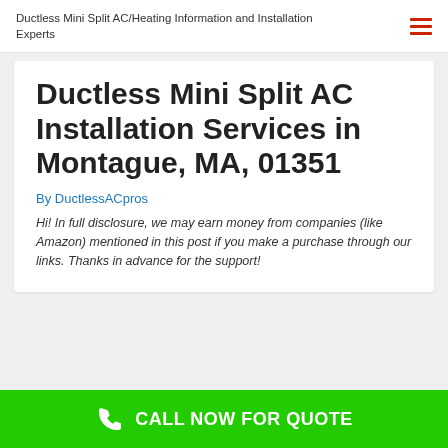Ductless Mini Split AC/Heating Information and Installation Experts
Ductless Mini Split AC Installation Services in Montague, MA, 01351
By DuctlessACpros
Hi! In full disclosure, we may earn money from companies (like Amazon) mentioned in this post if you make a purchase through our links. Thanks in advance for the support!
CALL NOW FOR QUOTE